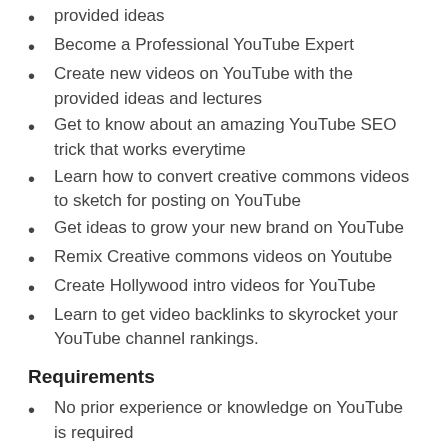provided ideas
Become a Professional YouTube Expert
Create new videos on YouTube with the provided ideas and lectures
Get to know about an amazing YouTube SEO trick that works everytime
Learn how to convert creative commons videos to sketch for posting on YouTube
Get ideas to grow your new brand on YouTube
Remix Creative commons videos on Youtube
Create Hollywood intro videos for YouTube
Learn to get video backlinks to skyrocket your YouTube channel rankings.
Requirements
No prior experience or knowledge on YouTube is required